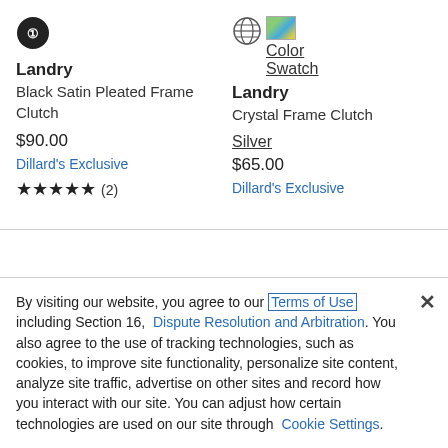[Figure (logo): Black circle logo icon for product 1]
Landry
Black Satin Pleated Frame Clutch
$90.00
Dillard's Exclusive
★★★★★ (2)
[Figure (logo): Globe icon and color swatch image for product 2]
Landry
Crystal Frame Clutch
$65.00
Dillard's Exclusive
By visiting our website, you agree to our Terms of Use including Section 16, Dispute Resolution and Arbitration. You also agree to the use of tracking technologies, such as cookies, to improve site functionality, personalize site content, analyze site traffic, advertise on other sites and record how you interact with our site. You can adjust how certain technologies are used on our site through Cookie Settings.